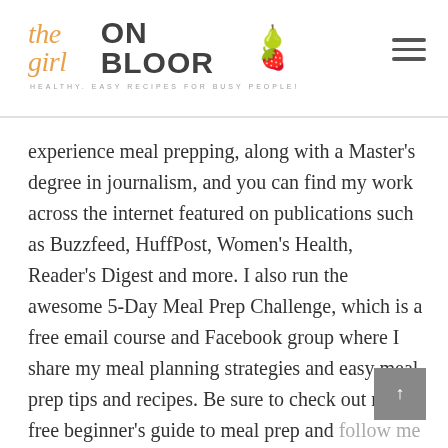the girl ON BLOOR — HEALTHY, EASY RECIPES FOR BUSY PEOPLE!
experience meal prepping, along with a Master's degree in journalism, and you can find my work across the internet featured on publications such as Buzzfeed, HuffPost, Women's Health, Reader's Digest and more. I also run the awesome 5-Day Meal Prep Challenge, which is a free email course and Facebook group where I share my meal planning strategies and easy meal prep tips and recipes. Be sure to check out my free beginner's guide to meal prep and follow me on Facebook, YouTube and Instagram to get my latest recipes and meal prep tips!